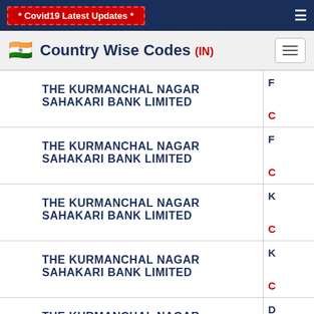* Covid19 Latest Updates *
Country Wise Codes (IN)
| Bank Name | Code |
| --- | --- |
| THE KURMANCHAL NAGAR SAHAKARI BANK LIMITED | F... C... |
| THE KURMANCHAL NAGAR SAHAKARI BANK LIMITED | F... C... |
| THE KURMANCHAL NAGAR SAHAKARI BANK LIMITED | K... C... |
| THE KURMANCHAL NAGAR SAHAKARI BANK LIMITED | K... C... |
| THE KURMANCHAL NAGAR SAHAKARI BANK LIMITED | D... |